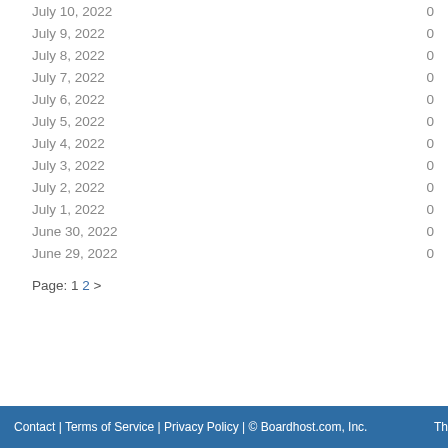| Date | Count |
| --- | --- |
| July 10, 2022 | 0 |
| July 9, 2022 | 0 |
| July 8, 2022 | 0 |
| July 7, 2022 | 0 |
| July 6, 2022 | 0 |
| July 5, 2022 | 0 |
| July 4, 2022 | 0 |
| July 3, 2022 | 0 |
| July 2, 2022 | 0 |
| July 1, 2022 | 0 |
| June 30, 2022 | 0 |
| June 29, 2022 | 0 |
Page: 1 2 >
Contact | Terms of Service | Privacy Policy | © Boardhost.com, Inc.  Th